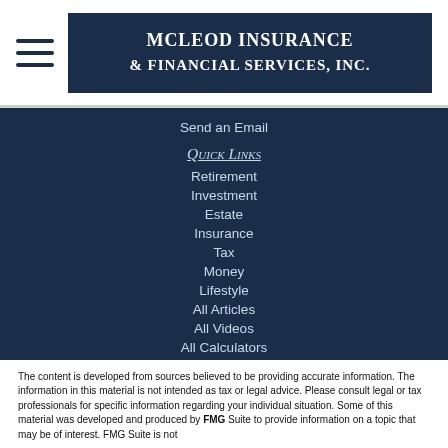[Figure (logo): McLeod Insurance & Financial Services, Inc. logo — white text on dark navy background]
Send an Email
Quick Links
Retirement
Investment
Estate
Insurance
Tax
Money
Lifestyle
All Articles
All Videos
All Calculators
All Presentations
The content is developed from sources believed to be providing accurate information. The information in this material is not intended as tax or legal advice. Please consult legal or tax professionals for specific information regarding your individual situation. Some of this material was developed and produced by FMG Suite to provide information on a topic that may be of interest. FMG Suite is not